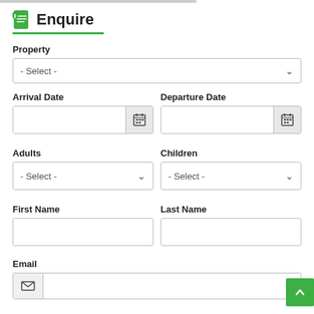Enquire
Property
- Select -
Arrival Date
Departure Date
Adults
Children
- Select -
- Select -
First Name
Last Name
Email